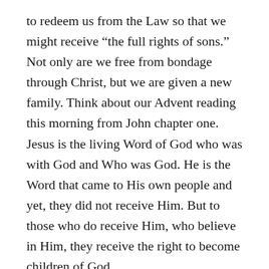to redeem us from the Law so that we might receive “the full rights of sons.” Not only are we free from bondage through Christ, but we are given a new family. Think about our Advent reading this morning from John chapter one. Jesus is the living Word of God who was with God and Who was God. He is the Word that came to His own people and yet, they did not receive Him. But to those who do receive Him, who believe in Him, they receive the right to become children of God.
Do you have a perfect family? Have you ever wanted a perfect family? Many people do. Many children long to have just a family. Many wait year after year in foster care or being homeless longing to have a family, longing for someone to want them, for someone to